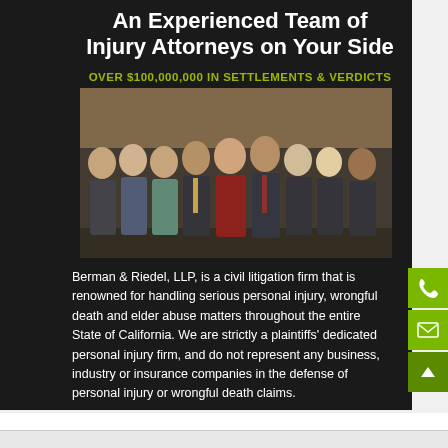An Experienced Team of Injury Attorneys on Your Side
OVER $100,000,000 IN SETTLEMENTS & VERDICTS
[Figure (photo): Group photo of approximately 10 attorneys and staff members of Berman & Riedel, LLP, dressed in business attire, posing together in an office setting with bookshelves in the background.]
Berman & Riedel, LLP, is a civil litigation firm that is renowned for handling serious personal injury, wrongful death and elder abuse matters throughout the entire State of California. We are strictly a plaintiffs' dedicated personal injury firm, and do not represent any business, industry or insurance companies in the defense of personal injury or wrongful death claims.